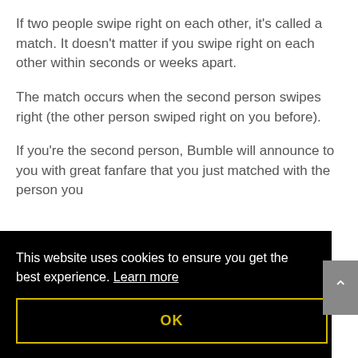If two people swipe right on each other, it's called a match. It doesn't matter if you swipe right on each other within seconds or weeks apart.
The match occurs when the second person swipes right (the other person swiped right on you before).
If you're the second person, Bumble will announce to you with great fanfare that you just matched with the person you
This website uses cookies to ensure you get the best experience. Learn more
OK